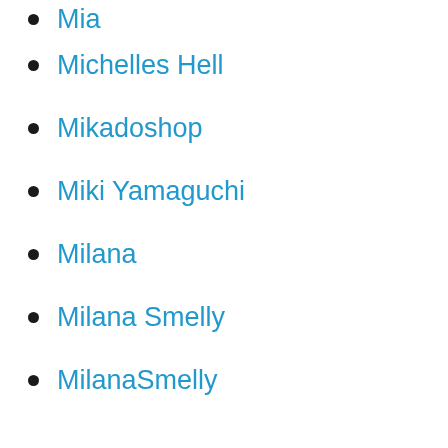Mia
Michelles Hell
Mikadoshop
Miki Yamaguchi
Milana
Milana Smelly
MilanaSmelly
MILF
MILF Defecation
Milfs Poops
milk
Mina
Minami Saya
minutes
Miss Cherie
Miss Decadoria
Miss Demeanor